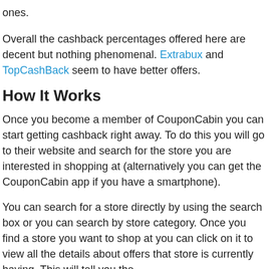ones.
Overall the cashback percentages offered here are decent but nothing phenomenal. Extrabux and TopCashBack seem to have better offers.
How It Works
Once you become a member of CouponCabin you can start getting cashback right away. To do this you will go to their website and search for the store you are interested in shopping at (alternatively you can get the CouponCabin app if you have a smartphone).
You can search for a store directly by using the search box or you can search by store category. Once you find a store you want to shop at you can click on it to view all the details about offers that store is currently having. This will tell you the